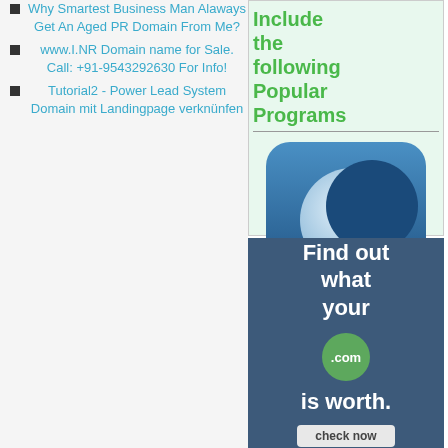Why Smartest Business Man Alaways Get An Aged PR Domain From Me?
www.I.NR Domain name for Sale. Call: +91-9543292630 For Info!
Tutorial2 - Power Lead System Domain mit Landingpage verknünfen
[Figure (infographic): Green text banner reading 'Include the following Popular Programs' with a horizontal divider]
[Figure (illustration): App icon with blue gradient background and a white crescent moon shape]
[Figure (infographic): Dark blue banner with white bold text 'Find out what your .com is worth.' with a green circle badge showing '.com' and a light-colored 'check now' button at the bottom]